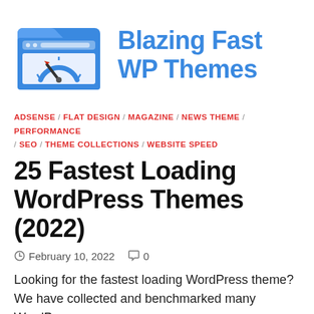[Figure (logo): Blazing Fast WP Themes logo: blue browser/folder icon with speedometer inside, next to bold blue text 'Blazing Fast WP Themes']
ADSENSE / FLAT DESIGN / MAGAZINE / NEWS THEME / PERFORMANCE / SEO / THEME COLLECTIONS / WEBSITE SPEED
25 Fastest Loading WordPress Themes (2022)
February 10, 2022  0
Looking for the fastest loading WordPress theme? We have collected and benchmarked many WordPress